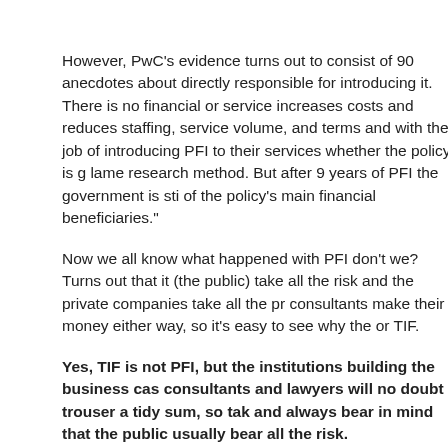However, PwC's evidence turns out to consist of 90 anecdotes about directly responsible for introducing it. There is no financial or service increases costs and reduces staffing, service volume, and terms and with the job of introducing PFI to their services whether the policy is g lame research method. But after 9 years of PFI the government is sti of the policy's main financial beneficiaries."
Now we all know what happened with PFI don't we? Turns out that it (the public) take all the risk and the private companies take all the pr consultants make their money either way, so it's easy to see why the or TIF.
Yes, TIF is not PFI, but the institutions building the business cas consultants and lawyers will no doubt trouser a tidy sum, so tak and always bear in mind that the public usually bear all the risk.
Vote Retain Union Terrace Ga
AV Footnote: